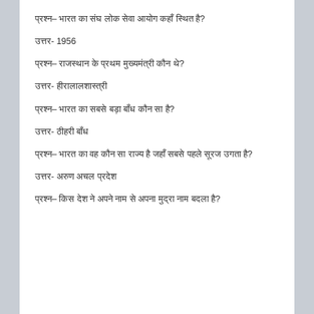प्रश्न– भारत का संघ लोक सेवा आयोग कहाँ स्थित है?
उत्तर- 1956
प्रश्न– राजस्थान के प्रथम मुख्यमंत्री कौन थे?
उत्तर- हीरालालशास्त्री
प्रश्न– भारत का सबसे बड़ा बाँध कौन सा है?
उत्तर- टिहरी बाँध
प्रश्न– भारत का वह कौन सा राज्य है जहाँ सबसे पहले सूरज उगता है?
उत्तर- अरुण अचल प्रदेश
प्रश्न– किस देश ने अपने नाम से अपना मुद्रा नाम बदला है?